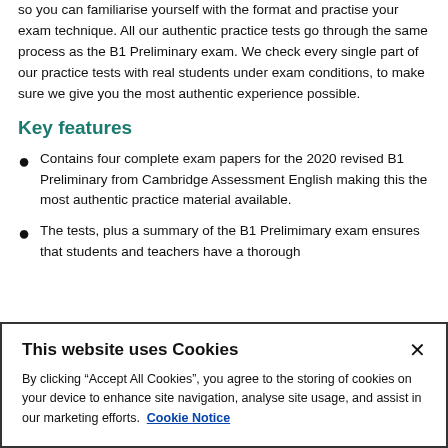so you can familiarise yourself with the format and practise your exam technique. All our authentic practice tests go through the same process as the B1 Preliminary exam. We check every single part of our practice tests with real students under exam conditions, to make sure we give you the most authentic experience possible.
Key features
Contains four complete exam papers for the 2020 revised B1 Preliminary from Cambridge Assessment English making this the most authentic practice material available.
The tests, plus a summary of the B1 Prelimímary exam ensures that students and teachers have a thorough
This website uses Cookies

By clicking “Accept All Cookies”, you agree to the storing of cookies on your device to enhance site navigation, analyse site usage, and assist in our marketing efforts.  Cookie Notice